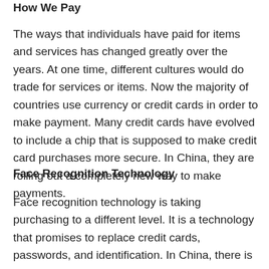How We Pay
The ways that individuals have paid for items and services has changed greatly over the years. At one time, different cultures would do trade for services or items. Now the majority of countries use currency or credit cards in order to make payment. Many credit cards have evolved to include a chip that is supposed to make credit card purchases more secure. In China, they are rolling out a completely new way to make payments.
Face Recognition Technology
Face recognition technology is taking purchasing to a different level. It is a technology that promises to replace credit cards, passwords, and identification. In China, there is a new app that has rolled out, and it is being used by 120 million people. This is an app that allows